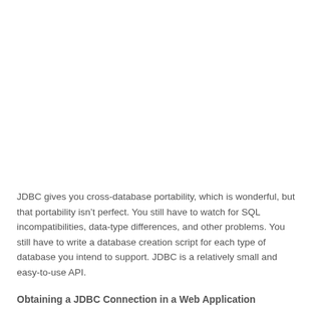JDBC gives you cross-database portability, which is wonderful, but that portability isn't perfect. You still have to watch for SQL incompatibilities, data-type differences, and other problems. You still have to write a database creation script for each type of database you intend to support. JDBC is a relatively small and easy-to-use API.
Obtaining a JDBC Connection in a Web Application